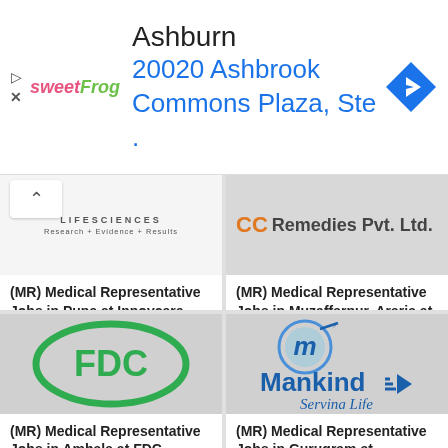[Figure (screenshot): Ad banner for SweetFrog at 20020 Ashbrook Commons Plaza, Ashburn with navigation icon]
(MR) Medical Representative Jobs in Pune at Innovcare Lifesciences
(MR) Medical Representative Jobs in Muzaffarpur, Araria at Corona Remedies
(MR) Medical Representative Jobs in Ambala at FDC
(MR) Medical Representative Jobs in Gurugram at